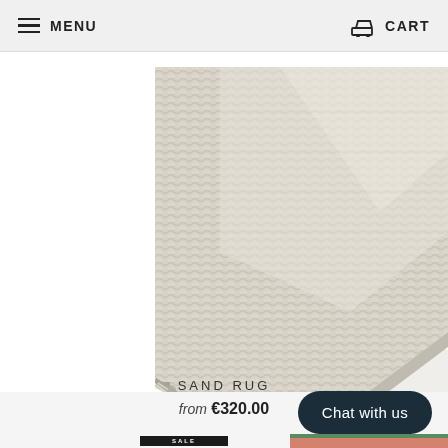MENU   CART
[Figure (photo): Close-up photo of a sand-colored woven rug corner showing texture and stitching detail]
SAND RUG
from €320.00
[Figure (photo): Partial view of a second rug with terracotta/pink and green woven texture, with a SALE badge overlay]
Chat with us